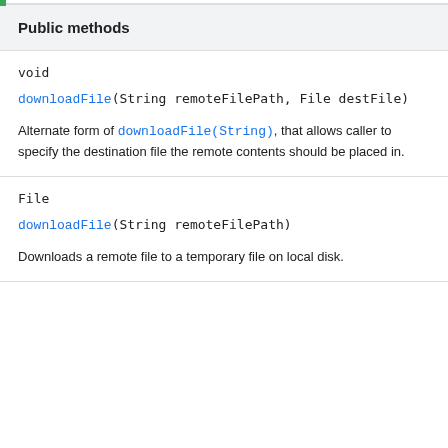Public methods
void
downloadFile(String remoteFilePath, File destFile)
Alternate form of downloadFile(String), that allows caller to specify the destination file the remote contents should be placed in.
File
downloadFile(String remoteFilePath)
Downloads a remote file to a temporary file on local disk.